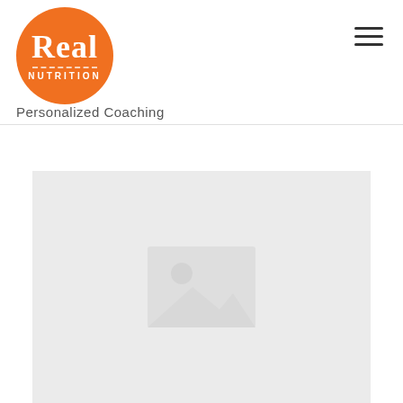[Figure (logo): Real Nutrition logo — orange circle with 'Real' in white serif font, dotted line separator, 'NUTRITION' in white uppercase letters below]
Personalized Coaching
[Figure (photo): Placeholder image with light gray background and a generic image placeholder icon (landscape with sun/circle symbol)]